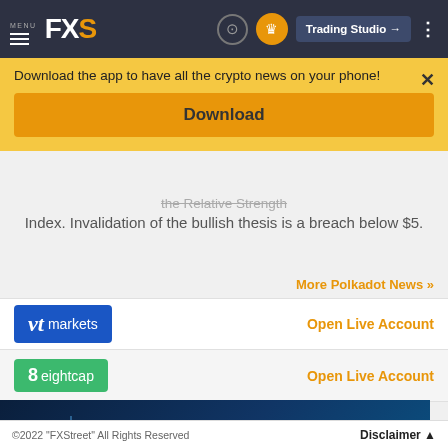MENU FXS | Trading Studio
Download the app to have all the crypto news on your phone!
Download
the Relative Strength Index. Invalidation of the bullish thesis is a breach below $5.
More Polkadot News >>
vt markets | Open Live Account
8 eightcap | Open Live Account
[Figure (screenshot): FXS subscription banner: FXS $24.99 per month* SUBSCRIBE!]
©2022 "FXStreet" All Rights Reserved | Disclaimer